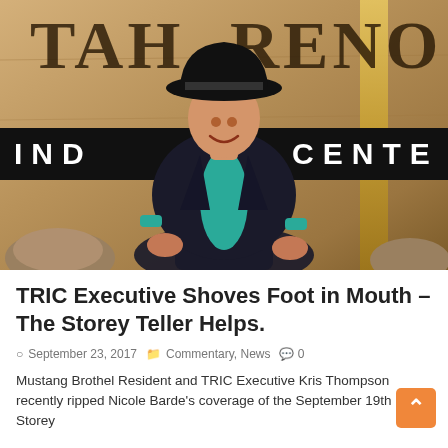[Figure (photo): A man in a black cowboy hat, dark blazer, and teal shirt sitting in front of a large stone sign reading 'TAHOE RENO INDUSTRIAL CENTER']
TRIC Executive Shoves Foot in Mouth – The Storey Teller Helps.
September 23, 2017   Commentary, News   0
Mustang Brothel Resident and TRIC Executive Kris Thompson recently ripped Nicole Barde's coverage of the September 19th Storey